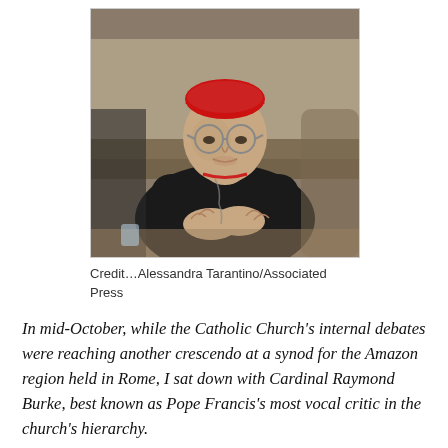[Figure (photo): A cardinal wearing a red zucchetto and black clerical attire with a pectoral cross, seated and clasping his hands together, photographed at what appears to be a conference or meeting setting.]
Credit…Alessandra Tarantino/Associated Press
In mid-October, while the Catholic Church's internal debates were reaching another crescendo at a synod for the Amazon region held in Rome, I sat down with Cardinal Raymond Burke, best known as Pope Francis's most vocal critic in the church's hierarchy.